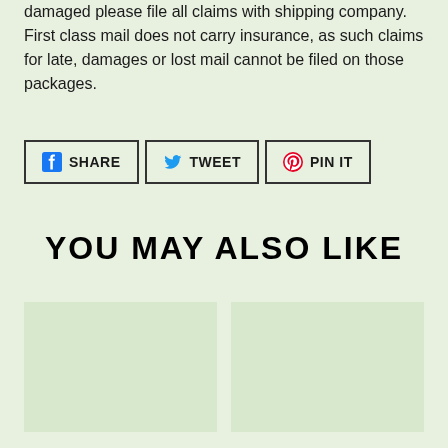damaged please file all claims with shipping company. First class mail does not carry insurance, as such claims for late, damages or lost mail cannot be filed on those packages.
[Figure (infographic): Social share buttons: SHARE (Facebook), TWEET (Twitter), PIN IT (Pinterest)]
YOU MAY ALSO LIKE
[Figure (photo): Product image placeholder left]
[Figure (photo): Product image placeholder right]